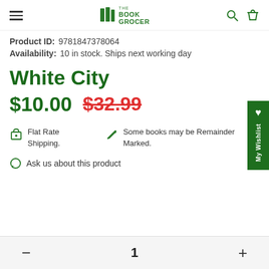The Book Grocer — navigation header
Product ID: 9781847378064
Availability: 10 in stock. Ships next working day
White City
$10.00  $32.99
Flat Rate Shipping.
Some books may be Remainder Marked.
Ask us about this product
1